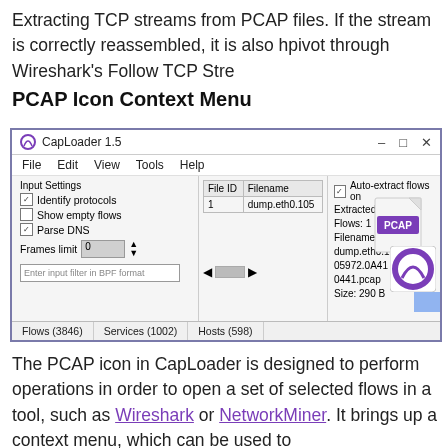Extracting TCP streams from PCAP files. If the stream is correctly reassembled, it is also helpful to pivot through Wireshark's Follow TCP Stre...
PCAP Icon Context Menu
[Figure (screenshot): CapLoader 1.5 application window showing input settings panel with checkboxes for Identify protocols, Show empty flows, Parse DNS; a file table showing File ID 1 with filename dump.eth0.105...; Extracted Flows panel showing Flows: 1, Filename: dump.eth0.105972.0A410441.pcap, Size: 290 B; PCAP icon overlay; bottom tabs: Flows (3846), Services (1002), Hosts (598)]
The PCAP icon in CapLoader is designed to perform operations in order to open a set of selected flows in a tool, such as Wireshark or NetworkMiner. It brings up a context menu, which can be used to...